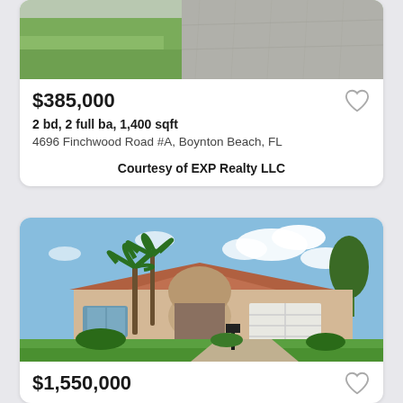[Figure (photo): Aerial/street view of a property showing grass lawn and driveway (partially cropped)]
$385,000
2 bd, 2 full ba, 1,400 sqft
4696 Finchwood Road #A, Boynton Beach, FL
Courtesy of EXP Realty LLC
[Figure (photo): Florida Mediterranean-style single-story home with palm trees, tile roof, arched entrance, two-car garage, and manicured lawn]
$1,550,000